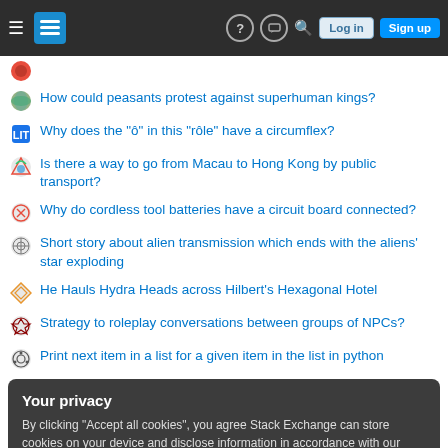Stack Exchange navigation header with Log in and Sign up buttons
How could peasants protest against superhuman kings?
Why does the "ô" in this "rôle" have a circumflex?
Is there a way to go from Macau to Hong Kong by public transport?
Why do cordless tool batteries have a circuit board connected?
Short story about alien transmission which ends with the aliens' star exploding
He Hauls Hydra Heads across Hilbert's Hexagonal Hotel
Strategy to roleplay conversations between groups of NPCs?
Print next item in a list for a given item in the list in python
Your privacy
By clicking "Accept all cookies", you agree Stack Exchange can store cookies on your device and disclose information in accordance with our Cookie Policy.
Find this Meta in 1